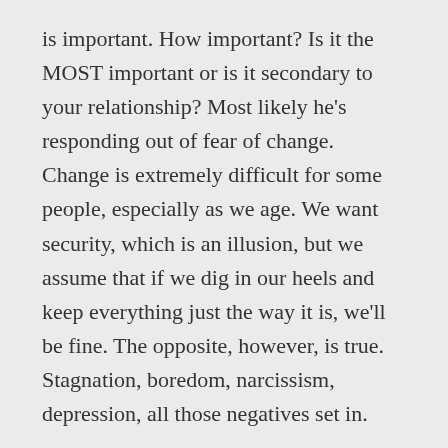is important. How important? Is it the MOST important or is it secondary to your relationship? Most likely he's responding out of fear of change. Change is extremely difficult for some people, especially as we age. We want security, which is an illusion, but we assume that if we dig in our heels and keep everything just the way it is, we'll be fine. The opposite, however, is true. Stagnation, boredom, narcissism, depression, all those negatives set in.
I wish you well, Joyce. I was there and it feels like being between a rock and a hard place. But there's no one-size-fits-all answer. You have to find what works for you. I believe by the time you start reaching